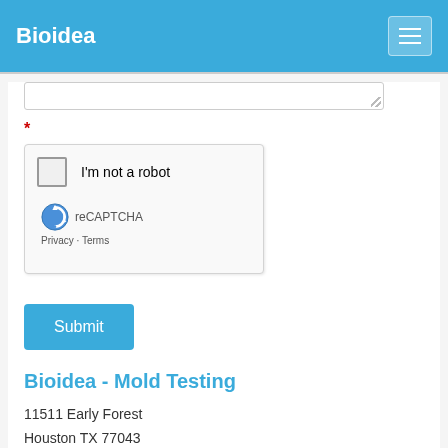Bioidea
[Figure (screenshot): A textarea input field (partially visible, cropped at top)]
*
[Figure (screenshot): reCAPTCHA widget showing a checkbox labeled 'I'm not a robot' with reCAPTCHA logo, Privacy and Terms links]
Submit
Bioidea - Mold Testing
11511 Early Forest
Houston TX 77043
support@bioidea.net
(832) 495-5301 (cell)